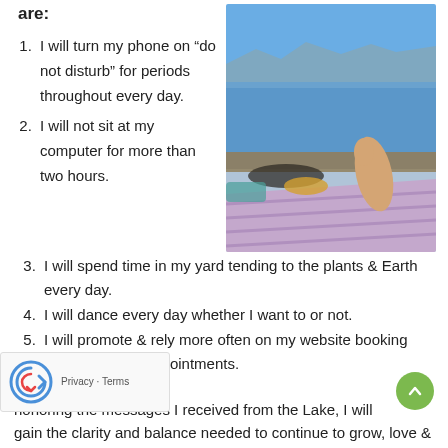are:
I will turn my phone on “do not disturb” for periods throughout every day.
I will not sit at my computer for more than two hours.
[Figure (photo): Person reclining on a beach by a lake with mountains in the background under a blue sky, feet visible in the foreground on a patterned blanket]
I will spend time in my yard tending to the plants & Earth every day.
I will dance every day whether I want to or not.
I will promote & rely more often on my website booking system to take appointments.
honoring the messages I received from the Lake, I will gain the clarity and balance needed to continue to grow, love &